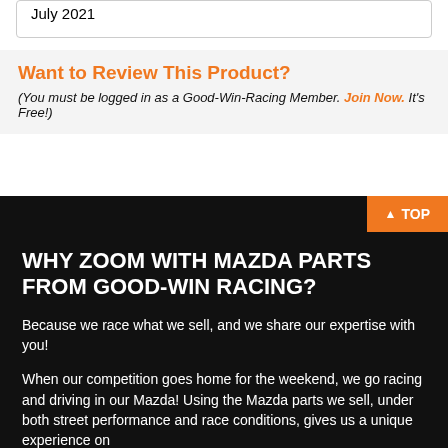July 2021
Want to Review This Product?
(You must be logged in as a Good-Win-Racing Member. Join Now. It's Free!)
▲ TOP
WHY ZOOM WITH MAZDA PARTS FROM GOOD-WIN RACING?
Because we race what we sell, and we share our expertise with you!
When our competition goes home for the weekend, we go racing and driving in our Mazda! Using the Mazda parts we sell, under both street performance and race conditions, gives us a unique experience on